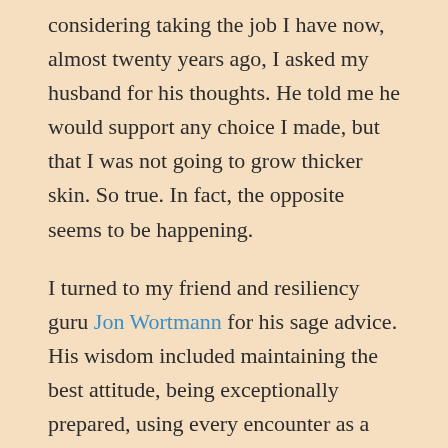considering taking the job I have now, almost twenty years ago, I asked my husband for his thoughts. He told me he would support any choice I made, but that I was not going to grow thicker skin. So true. In fact, the opposite seems to be happening.
I turned to my friend and resiliency guru Jon Wortmann for his sage advice. His wisdom included maintaining the best attitude, being exceptionally prepared, using every encounter as a growth opportunity, and worst of all, considering compassion. You will have to ask him for details, but suffice it to say my initial reaction was “Um, no. I don’t want to learn and grow, I want to complain.”
So, for fun, I started creating my own coping